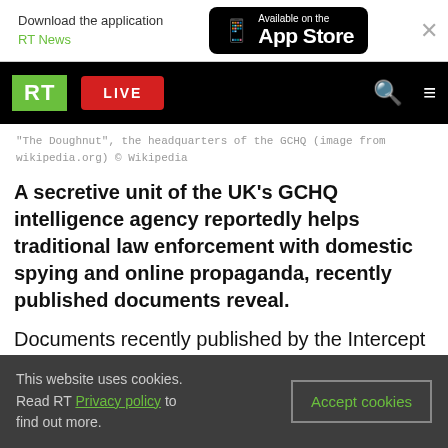Download the application RT News — Available on the App Store
RT LIVE
"The Doughnut", the headquarters of the GCHQ (image from wikipedia.org) © Wikipedia
A secretive unit of the UK's GCHQ intelligence agency reportedly helps traditional law enforcement with domestic spying and online propaganda, recently published documents reveal.
Documents recently published by the Intercept show how a secretive unit of the GCHQ, called the Joint Threat Research Intelligence Group (JTRIG)
This website uses cookies. Read RT Privacy policy to find out more.